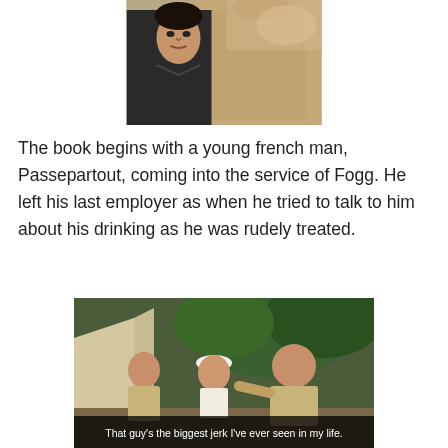[Figure (photo): A man in a black jacket facing another person wearing a beige/tan jacket, seen from behind. Appears to be a movie or TV show still.]
The book begins with a young french man, Passepartout, coming into the service of Fogg. He left his last employer as when he tried to talk to him about his drinking as he was rudely treated.
[Figure (photo): Three men sitting together outdoors near a tent with tropical plants in background. Two men in tan uniforms and one in a white tank top. Subtitle reads: That guy's the biggest jerk I've ever seen in my life.]